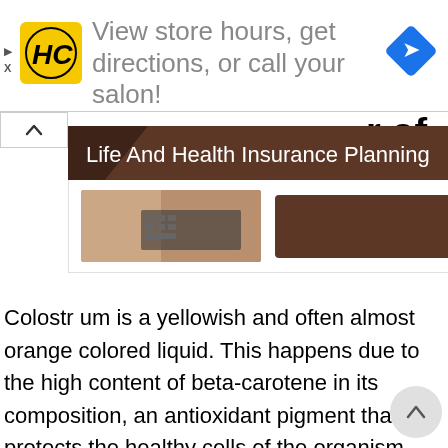[Figure (screenshot): Ad banner with HC logo (yellow background), text 'View store hours, get directions, or call your salon!' and a blue navigation diamond icon on the right]
[Figure (screenshot): Life And Health Insurance Planning widget panel with brown header, keyboard image, and Contact Us button]
r of colostrum?
Colostrum is a yellowish and often almost orange colored liquid. This happens due to the high content of beta-carotene in its composition, an antioxidant pigment that protects the healthy cells of the organism against the action of free radicals. Its consistency is usually thick sticky.